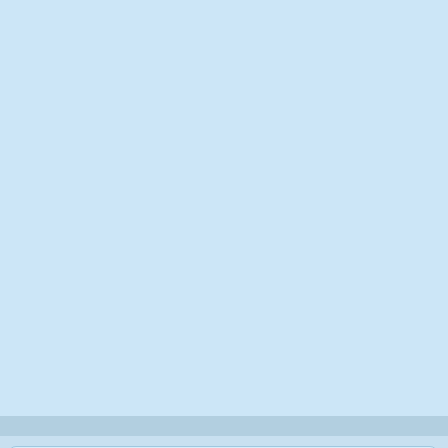[Figure (other): Light blue banner/advertisement area occupying the upper portion of the page]
NEW ESCAPE GAMES
New Escape Games are based in new different locations and comprises of more Logical Puzzles. Most importantly, the player has to well examine the environment to escape. These games might be Tricky sometimes, so be prepared. You might have read out great escapes from books, novels and also have watched in movies. But you
BEST ESCAPE G...
Best escape gam... escapes, horror e... adventurous esca... outdoor escapes ... games will surely... addicted to it. We... best escape game... games covers all...